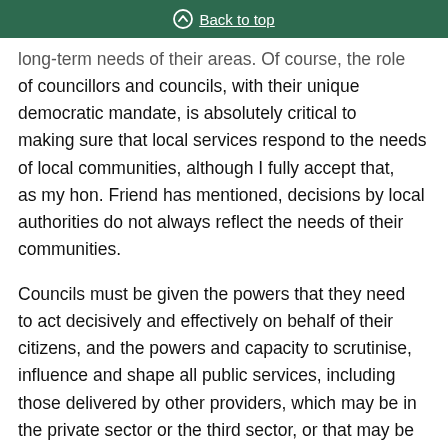Back to top
long-term needs of their areas. Of course, the role of councillors and councils, with their unique democratic mandate, is absolutely critical to making sure that local services respond to the needs of local communities, although I fully accept that, as my hon. Friend has mentioned, decisions by local authorities do not always reflect the needs of their communities.
Councils must be given the powers that they need to act decisively and effectively on behalf of their citizens, and the powers and capacity to scrutinise, influence and shape all public services, including those delivered by other providers, which may be in the private sector or the third sector, or that may be agents of central Government. That is a new, much